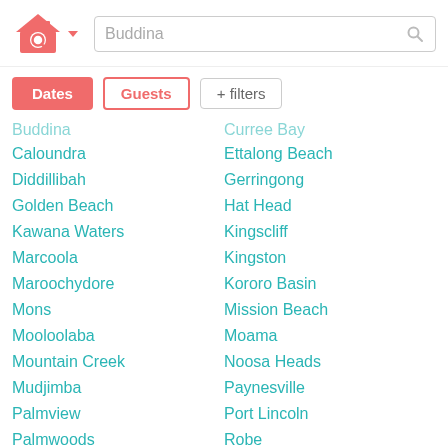[Figure (logo): Stayz/HomeAway style house with magnifying glass logo in coral/salmon red color, with dropdown arrow]
Buddina (search box placeholder)
Dates | Guests | + filters
Buddina (truncated)
Caloundra
Diddillibah
Golden Beach
Kawana Waters
Marcoola
Maroochydore
Mons
Mooloolaba
Mountain Creek
Mudjimba
Palmview
Palmwoods
Parrearra
Bulcock Water (truncated)
Curree Bay (truncated)
Ettalong Beach
Gerringong
Hat Head
Kingscliff
Kingston
Kororo Basin
Mission Beach
Moama
Noosa Heads
Paynesville
Port Lincoln
Robe
Sanctuary Point
Terrigal (truncated)